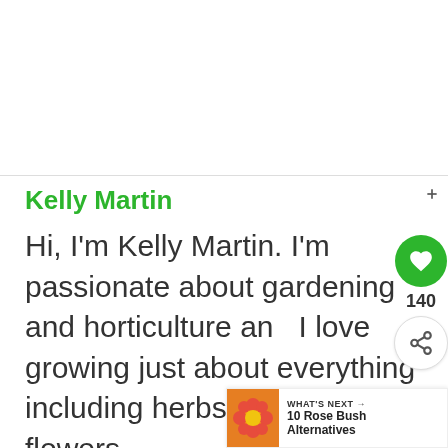Kelly Martin
Hi, I'm Kelly Martin. I'm passionate about gardening and horticulture and I love growing just about everything including herbs, vegetables, flowers,